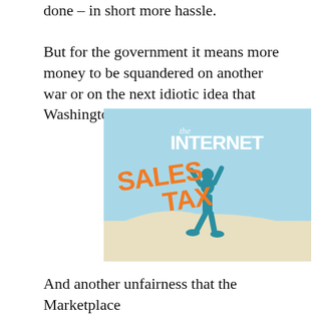done – in short more hassle.
But for the government it means more money to be squandered on another war or on the next idiotic idea that Washington can think of.
[Figure (illustration): Infographic showing a teal silhouette of a person holding up large orange bold text reading 'the INTERNET SALES TAX' on a light blue background with a sandy hill at the bottom.]
And another unfairness that the Marketplace